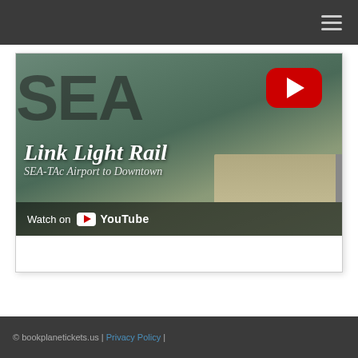[Figure (screenshot): YouTube video thumbnail/embed showing a Link Light Rail video titled 'Link Light Rail – SEA-TAc Airport to Downtown', with a red YouTube play button, 'Watch on YouTube' bar at bottom, set against a photo of a train station with large SEA letters visible]
© bookplanetickets.us | Privacy Policy |